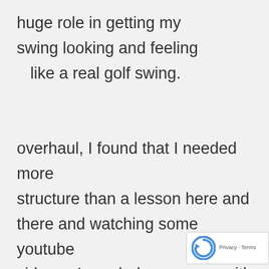huge role in getting my swing looking and feeling like a real golf swing.
overhaul, I found that I needed more structure than a lesson here and there and watching some youtube videos.  I needed a program with specific practice goals to ingrain I learned.  I took a gamble on thi